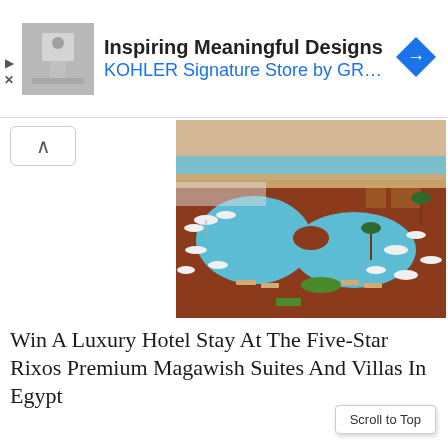[Figure (infographic): Advertisement banner: thumbnail image of bathroom/interior, text 'Inspiring Meaningful Designs' and 'KOHLER Signature Store by GR...' with blue navigation arrow icon]
[Figure (photo): Aerial view of a large luxury hotel pool complex with sun loungers, umbrellas, and beach in background]
Win A Luxury Hotel Stay At The Five-Star Rixos Premium Magawish Suites And Villas In Egypt
[Figure (photo): Exterior of a brick building with white columns and flower baskets, partially visible]
Scroll to Top